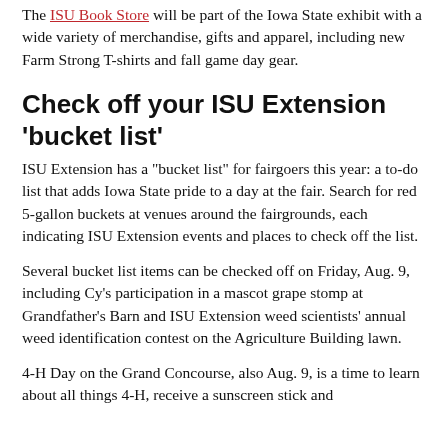The ISU Book Store will be part of the Iowa State exhibit with a wide variety of merchandise, gifts and apparel, including new Farm Strong T-shirts and fall game day gear.
Check off your ISU Extension 'bucket list'
ISU Extension has a "bucket list" for fairgoers this year: a to-do list that adds Iowa State pride to a day at the fair. Search for red 5-gallon buckets at venues around the fairgrounds, each indicating ISU Extension events and places to check off the list.
Several bucket list items can be checked off on Friday, Aug. 9, including Cy's participation in a mascot grape stomp at Grandfather's Barn and ISU Extension weed scientists' annual weed identification contest on the Agriculture Building lawn.
4-H Day on the Grand Concourse, also Aug. 9, is a time to learn about all things 4-H, receive a sunscreen stick and